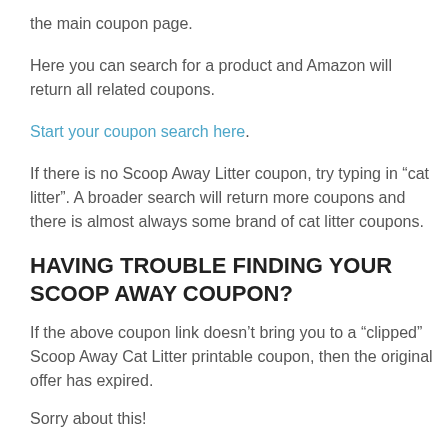the main coupon page.
Here you can search for a product and Amazon will return all related coupons.
Start your coupon search here.
If there is no Scoop Away Litter coupon, try typing in “cat litter”. A broader search will return more coupons and there is almost always some brand of cat litter coupons.
HAVING TROUBLE FINDING YOUR SCOOP AWAY COUPON?
If the above coupon link doesn’t bring you to a “clipped” Scoop Away Cat Litter printable coupon, then the original offer has expired.
Sorry about this!